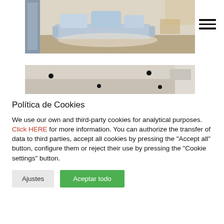[Figure (photo): Interior photo of a living room with a light blue sofa/daybed and wooden flooring, partially visible]
[Figure (photo): Interior photo of a ceiling with recessed spotlights]
Política de Cookies
We use our own and third-party cookies for analytical purposes. Click HERE for more information. You can authorize the transfer of data to third parties, accept all cookies by pressing the "Accept all" button, configure them or reject their use by pressing the "Cookie settings" button.
Ajustes
Aceptar todo